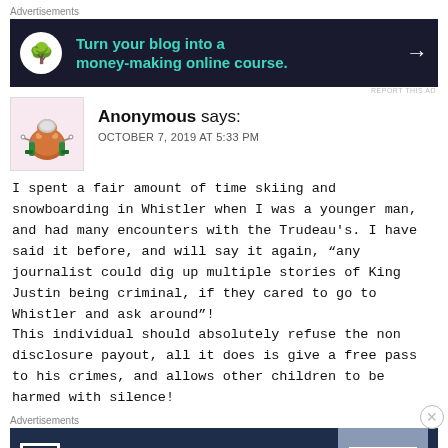[Figure (screenshot): Advertisement banner: dark background with circle icon, text 'Turn your blog into a money-making online course.' and arrow]
Anonymous says:
OCTOBER 7, 2019 AT 5:33 PM
I spent a fair amount of time skiing and snowboarding in Whistler when I was a younger man, and had many encounters with the Trudeau's. I have said it before, and will say it again, “any journalist could dig up multiple stories of King Justin being criminal, if they cared to go to Whistler and ask around”!
This individual should absolutely refuse the non disclosure payout, all it does is give a free pass to his crimes, and allows other children to be harmed with silence!
[Figure (screenshot): Advertisement banner: WordPress Hosting That Means Business with OPEN sign image]